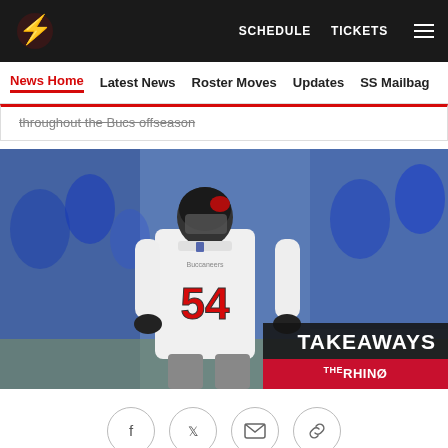SCHEDULE   TICKETS   ☰
News Home  Latest News  Roster Moves  Updates  SS Mailbag
throughout the Bucs offseason
[Figure (photo): Tampa Bay Buccaneers player wearing jersey number 54 in white uniform, celebrating on field with crowd in blue in background. Overlay text reads TAKEAWAYS with THE RHINO logo below.]
[Figure (infographic): Social sharing icons: Facebook, Twitter, Email, Link]